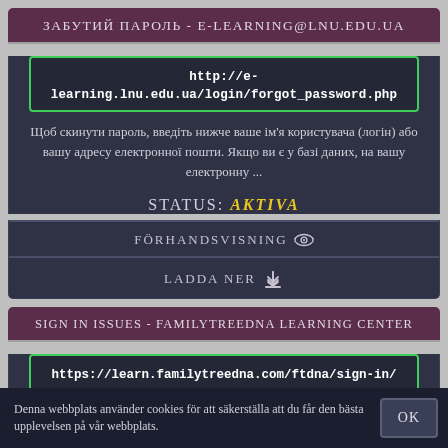ЗАБУТИЙ ПАРОЛЬ - E-LEARNING@LNU.EDU.UA
http://e-learning.lnu.edu.ua/login/forgot_password.php
Щоб скинути пароль, введіть нижче ваше ім'я користувача (логін) або вашу адресу електронної пошти. Якщо ви є у базі даних, на вашу електронну ...
STATUS: AKTIVA
FÖRHANDSVISNING
LADDA NER
SIGN IN ISSUES - FAMILYTREEDNA LEARNING CENTER
https://learn.familytreedna.com/ftdna/sign-in/
Denna webbplats använder cookies för att säkerställa att du får den bästa upplevelsen på vår webbplats.